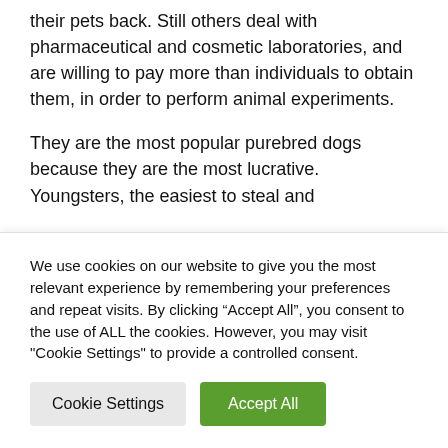their pets back. Still others deal with pharmaceutical and cosmetic laboratories, and are willing to pay more than individuals to obtain them, in order to perform animal experiments.
They are the most popular purebred dogs because they are the most lucrative. Youngsters, the easiest to steal and
We use cookies on our website to give you the most relevant experience by remembering your preferences and repeat visits. By clicking “Accept All”, you consent to the use of ALL the cookies. However, you may visit "Cookie Settings" to provide a controlled consent.